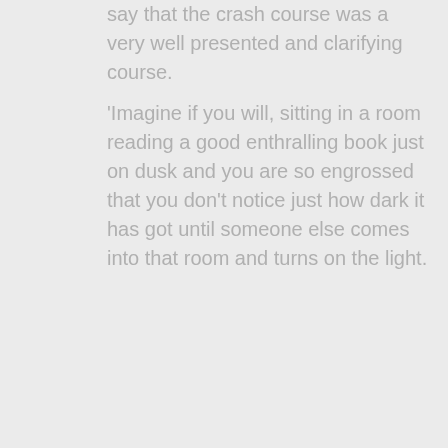say that the crash course was a very well presented and clarifying course.
'Imagine if you will, sitting in a room reading a good enthralling book just on dusk and you are so engrossed that you don't notice just how dark it has got until someone else comes into that room and turns on the light.